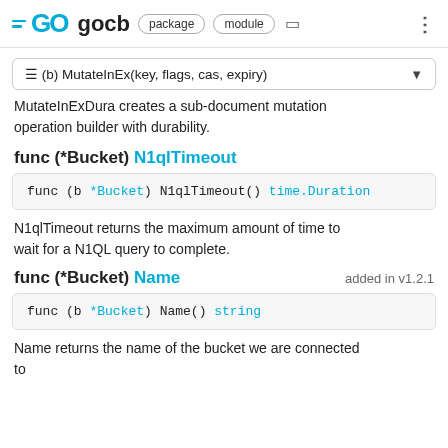GO gocb  package  module
≡ (b) MutateInEx(key, flags, cas, expiry)
MutateInExDura creates a sub-document mutation operation builder with durability.
func (*Bucket) N1qlTimeout
func (b *Bucket) N1qlTimeout() time.Duration
N1qlTimeout returns the maximum amount of time to wait for a N1QL query to complete.
func (*Bucket) Name  added in v1.2.1
func (b *Bucket) Name() string
Name returns the name of the bucket we are connected to.